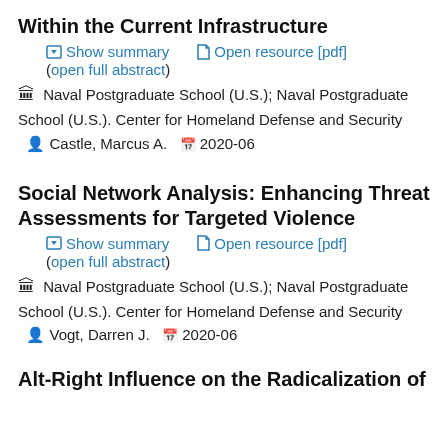Within the Current Infrastructure
Show summary   Open resource [pdf]
(open full abstract)
Naval Postgraduate School (U.S.); Naval Postgraduate School (U.S.). Center for Homeland Defense and Security   Castle, Marcus A.   2020-06
Social Network Analysis: Enhancing Threat Assessments for Targeted Violence
Show summary   Open resource [pdf]
(open full abstract)
Naval Postgraduate School (U.S.); Naval Postgraduate School (U.S.). Center for Homeland Defense and Security   Vogt, Darren J.   2020-06
Alt-Right Influence on the Radicalization of